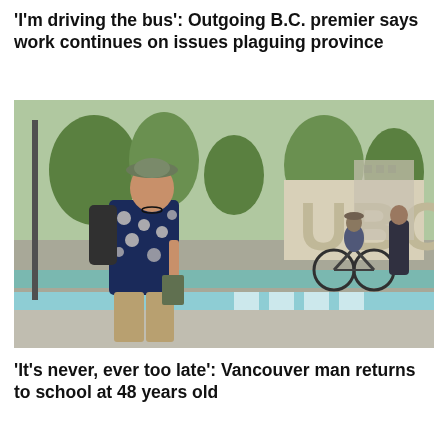'I'm driving the bus': Outgoing B.C. premier says work continues on issues plaguing province
[Figure (photo): A man wearing a floral navy shirt, bucket hat, and backpack walks on a crosswalk near the UBC (University of British Columbia) campus sign. A cyclist passes behind him. Trees and buildings are visible in the background.]
'It's never, ever too late': Vancouver man returns to school at 48 years old